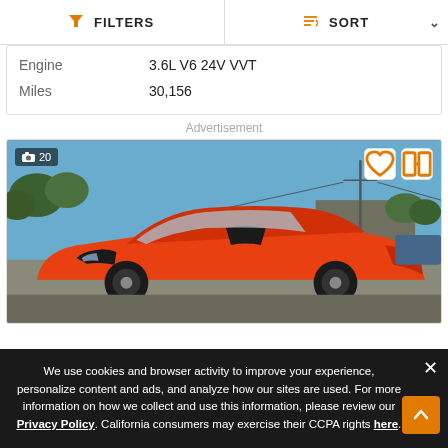FILTERS | SORT
| Property | Value |
| --- | --- |
| Engine | 3.6L V6 24V VVT |
| Miles | 30,156 |
Advertisement
[Figure (photo): Orange Dodge Charger sports car photographed outdoors in a parking lot with trees and a building in the background. Photo count badge showing 20 photos. Heart and compare action buttons in top right of image.]
We use cookies and browser activity to improve your experience, personalize content and ads, and analyze how our sites are used. For more information on how we collect and use this information, please review our Privacy Policy. California consumers may exercise their CCPA rights here.